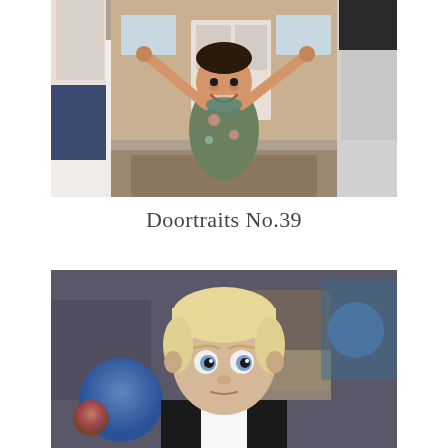[Figure (photo): A young toddler girl in a floral green dress with arms raised, being held by two adults on either side, standing outside in front of a house doorway]
Doortraits No.39
[Figure (photo): A young blonde toddler boy in a white shirt and black vest looking at the camera, with adults and colorful balloons in the blurred background]